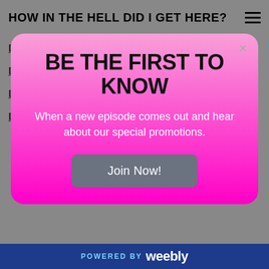HOW IN THE HELL DID I GET HERE?
Date
Date Night
Date With An Elf
Dawn Dish Soap
[Figure (screenshot): Modal popup with pink gradient background. Title: BE THE FIRST TO KNOW. Body text: When a new episode comes out and hear about our special promotions. Button: Join Now!]
Dick Whistle
Dildos
Dinty Moore Beef Stew
Disc Jockey
POWERED BY weebly